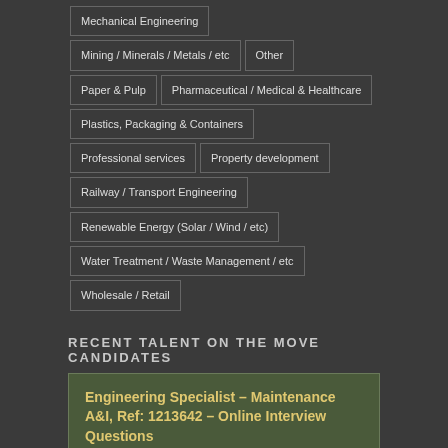Mechanical Engineering
Mining / Minerals / Metals / etc
Other
Paper & Pulp
Pharmaceutical / Medical & Healthcare
Plastics, Packaging & Containers
Professional services
Property development
Railway / Transport Engineering
Renewable Energy (Solar / Wind / etc)
Water Treatment / Waste Management / etc
Wholesale / Retail
RECENT TALENT ON THE MOVE CANDIDATES
Engineering Specialist – Maintenance A&I, Ref: 1213642 – Online Interview Questions
South African, South Africa ▸ 1213642 ▸ B.Eng
QA & Welding Engineer, Ref: 1213312 – Online Interview Questions